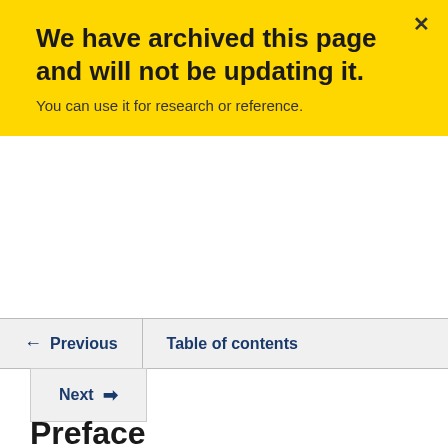We have archived this page and will not be updating it. You can use it for research or reference.
← Previous   Table of contents
Next →
Preface
This document reports on the estimated fiscal cost of federal tax expenditures, sets